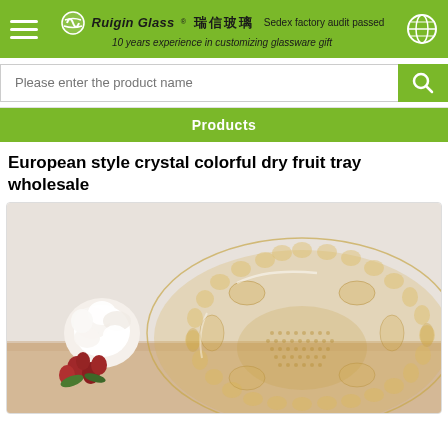Ruigin Glass 瑞信玻璃 Sedex factory audit passed 10 years experience in customizing glassware gift
Please enter the product name
Products
European style crystal colorful dry fruit tray wholesale
[Figure (photo): A European style crystal colorful dry fruit tray (glass bowl/plate with amber/gold tint and decorative scalloped edges and faceted pattern), displayed alongside white and red roses on a wooden surface.]